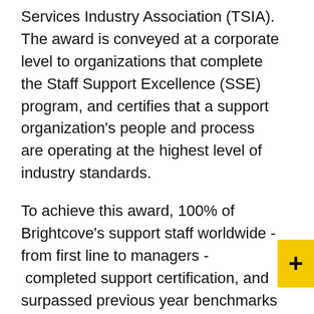Services Industry Association (TSIA). The award is conveyed at a corporate level to organizations that complete the Staff Support Excellence (SSE) program, and certifies that a support organization's people and process are operating at the highest level of industry standards.
To achieve this award, 100% of Brightcove's support staff worldwide - from first line to managers - completed support certification, and surpassed previous year benchmarks in customer satisfaction ratings and average time to close cases. This award marks the second year in a row that Brightcove Technical Support has achieved the Support Staff Excellence